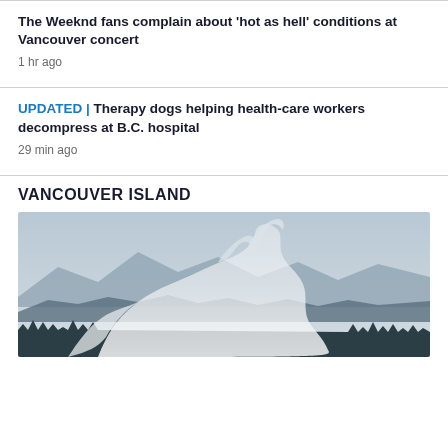The Weeknd fans complain about 'hot as hell' conditions at Vancouver concert
1 hr ago
UPDATED | Therapy dogs helping health-care workers decompress at B.C. hospital
29 min ago
VANCOUVER ISLAND
[Figure (photo): Smoke and haze over a forested landscape, Vancouver Island wildfire scene]